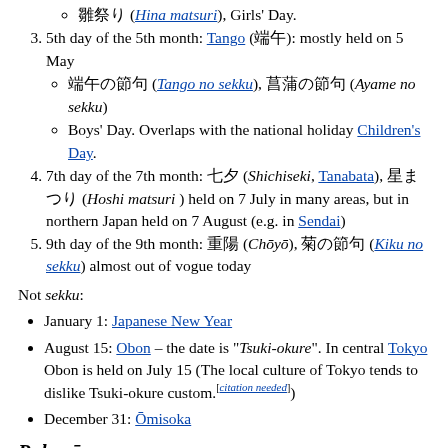雛祭り (Hina matsuri), Girls' Day.
3. 5th day of the 5th month: Tango (端午): mostly held on 5 May
端午の節句 (Tango no sekku), 菖蒲の節句 (Ayame no sekku)
Boys' Day. Overlaps with the national holiday Children's Day.
4. 7th day of the 7th month: 七夕 (Shichiseki, Tanabata), 星まつり (Hoshi matsuri) held on 7 July in many areas, but in northern Japan held on 7 August (e.g. in Sendai)
5. 9th day of the 9th month: 重陽 (Chōyō), 菊の節句 (Kiku no sekku) almost out of vogue today
Not sekku:
January 1: Japanese New Year
August 15: Obon – the date is "Tsuki-okure". In central Tokyo Obon is held on July 15 (The local culture of Tokyo tends to dislike Tsuki-okure custom.[citation needed])
December 31: Ōmisoka
Rokuyō
The rokuyō (六曜) are a series of six days calculated from the date of Chinese calendar that supposedly predict whether there will be good or bad fortune during that day. The rokuyō are commonly found on Japanese calendars and are often used to plan weddings